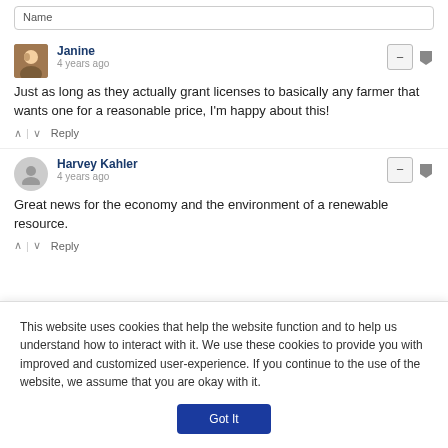Janine
4 years ago
Just as long as they actually grant licenses to basically any farmer that wants one for a reasonable price, I'm happy about this!
Harvey Kahler
4 years ago
Great news for the economy and the environment of a renewable resource.
This website uses cookies that help the website function and to help us understand how to interact with it. We use these cookies to provide you with improved and customized user-experience. If you continue to the use of the website, we assume that you are okay with it.